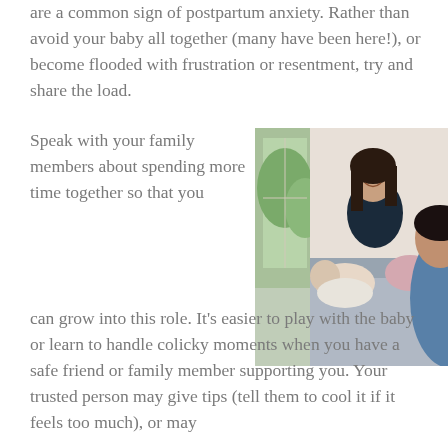are a common sign of postpartum anxiety. Rather than avoid your baby all together (many have been here!), or become flooded with frustration or resentment, try and share the load.
Speak with your family members about spending more time together so that you can grow into this role. It's easier to play with the baby or learn to handle colicky moments when you have a safe friend or family member supporting you. Your trusted person may give tips (tell them to cool it if it feels too much), or may
[Figure (photo): A smiling woman with dark hair sitting with a baby and another person, in a bright indoor setting with greenery visible through a window.]